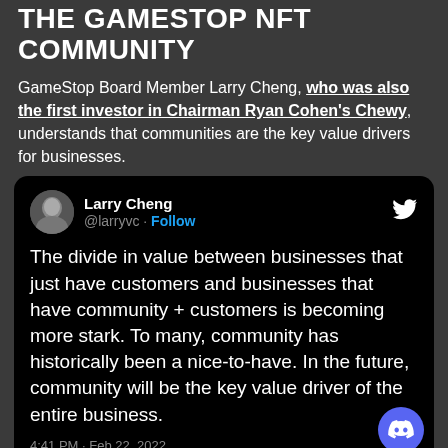THE GAMESTOP NFT COMMUNITY
GameStop Board Member Larry Cheng, who was also the first investor in Chairman Ryan Cohen's Chewy, understands that communities are the key value drivers for businesses.
[Figure (screenshot): Tweet from Larry Cheng (@larryvc) with Twitter bird icon, profile photo, Follow button. Tweet text: 'The divide in value between businesses that just have customers and businesses that have community + customers is becoming more stark. To many, community has historically been a nice-to-have. In the future, community will be the key value driver of the entire business.' Timestamp: 4:41 PM · Feb 22, 2022. Discord button overlay bottom right.]